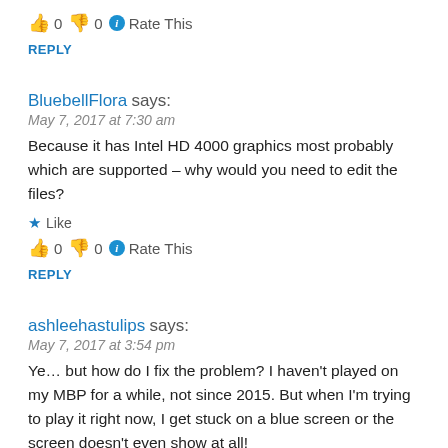👍 0 👎 0 ℹ Rate This
REPLY
BluebellFlora says:
May 7, 2017 at 7:30 am
Because it has Intel HD 4000 graphics most probably which are supported – why would you need to edit the files?
★ Like
👍 0 👎 0 ℹ Rate This
REPLY
ashleehastulips says:
May 7, 2017 at 3:54 pm
Ye... but how do I fix the problem? I haven't played on my MBP for a while, not since 2015. But when I'm trying to play it right now, I get stuck on a blue screen or the screen doesn't even show at all!